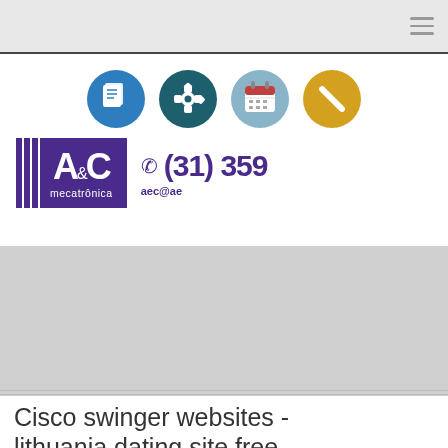[Figure (logo): Navigation hamburger menu icon (three horizontal lines) in top right corner]
[Figure (infographic): Four circular icons in a row: document/paper icon (blue), gear/settings icon (dark teal), calendar icon (light blue-gray), screwdriver/tools icon (golden yellow) - navigation icons for a website]
[Figure (logo): A&C mecatrônica logo with purple background, white A&C text with ampersand, vertical purple stripes on left side]
(31) 359
aec@ae
Cisco swinger websites - lithuania dating site free